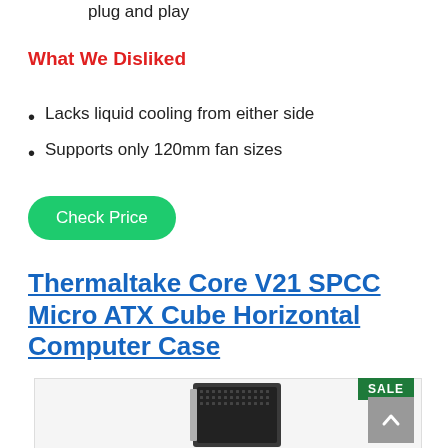plug and play
What We Disliked
Lacks liquid cooling from either side
Supports only 120mm fan sizes
Check Price
Thermaltake Core V21 SPCC Micro ATX Cube Horizontal Computer Case
[Figure (photo): Product image of Thermaltake Core V21 SPCC Micro ATX Cube Horizontal Computer Case with a SALE badge and scroll-to-top button visible]